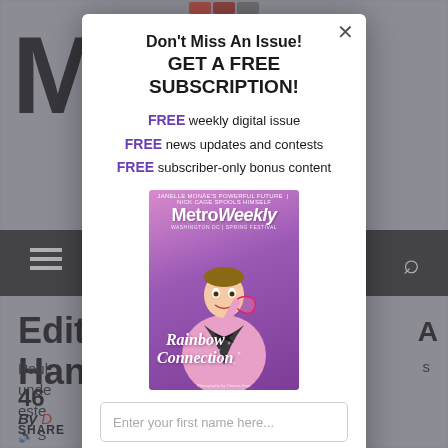[Figure (screenshot): Background webpage showing Metro Weekly site partially visible behind modal overlay]
Don't Miss An Issue! GET A FREE SUBSCRIPTION!
FREE weekly digital issue
FREE news updates and contests
FREE subscriber-only bonus content
[Figure (photo): Metro Weekly magazine cover featuring a man in a pink sparkly tuxedo holding glasses, with text 'Rainbow Connection' in script. Header reads 'MetroWeekly'.]
Enter your first name here...
Enter your email...